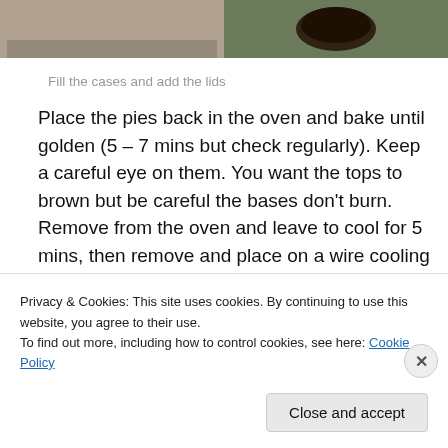[Figure (photo): Two food photos at top: left shows sandy/textured surface, right shows a dark plate with food on green background]
Fill the cases and add the lids
Place the pies back in the oven and bake until golden (5 – 7 mins but check regularly). Keep a careful eye on them. You want the tops to brown but be careful the bases don't burn. Remove from the oven and leave to cool for 5 mins, then remove and place on a wire cooling rack.
[Figure (photo): Two food photos at bottom: left shows pies on a wire rack in oven, right shows finished pies with powdered sugar on a rack]
Privacy & Cookies: This site uses cookies. By continuing to use this website, you agree to their use.
To find out more, including how to control cookies, see here: Cookie Policy